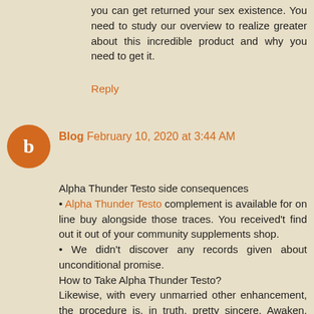you can get returned your sex existence. You need to study our overview to realize greater about this incredible product and why you need to get it.
Reply
Blog February 10, 2020 at 3:44 AM
Alpha Thunder Testo side consequences
• Alpha Thunder Testo complement is available for on line buy alongside those traces. You received't find out it out of your community supplements shop.
• We didn't discover any records given about unconditional promise.
How to Take Alpha Thunder Testo?
Likewise, with every unmarried other enhancement, the procedure is, in truth, pretty sincere. Awaken, take a tablet, take on once more inside the preceding night you hit the hay. At times you could make it a smidgen before you're taking somebody home as it offers you a few prompt outcomes also. Do this continually and consolidate it along with your commonplace weight loss plan and workout, and also you must get results.